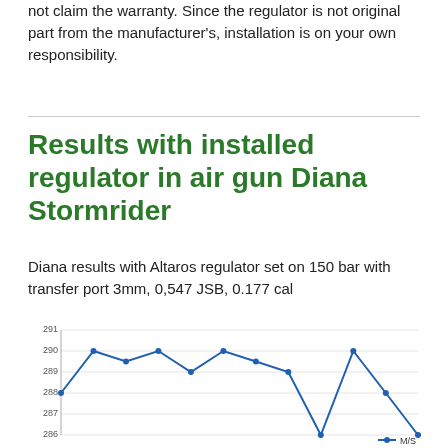not claim the warranty. Since the regulator is not original part from the manufacturer's, installation is on your own responsibility.
Results with installed regulator in air gun Diana Stormrider
Diana results with Altaros regulator set on 150 bar with transfer port 3mm, 0,547 JSB, 0.177 cal
[Figure (line-chart): ]